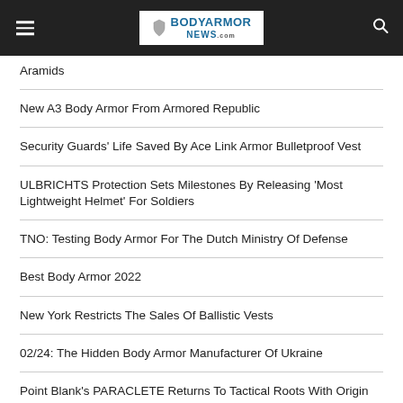BODYARMOR NEWS
Aramids
New A3 Body Armor From Armored Republic
Security Guards' Life Saved By Ace Link Armor Bulletproof Vest
ULBRICHTS Protection Sets Milestones By Releasing 'Most Lightweight Helmet' For Soldiers
TNO: Testing Body Armor For The Dutch Ministry Of Defense
Best Body Armor 2022
New York Restricts The Sales Of Ballistic Vests
02/24: The Hidden Body Armor Manufacturer Of Ukraine
Point Blank's PARACLETE Returns To Tactical Roots With Origin